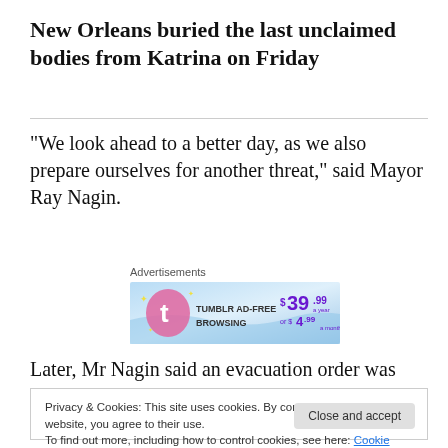New Orleans buried the last unclaimed bodies from Katrina on Friday
“We look ahead to a better day, as we also prepare ourselves for another threat,” said Mayor Ray Nagin.
[Figure (other): Tumblr Ad-Free Browsing advertisement banner: $39.99 a year or $4.99 a month]
Later, Mr Nagin said an evacuation order was likely,
Privacy & Cookies: This site uses cookies. By continuing to use this website, you agree to their use.
To find out more, including how to control cookies, see here: Cookie Policy